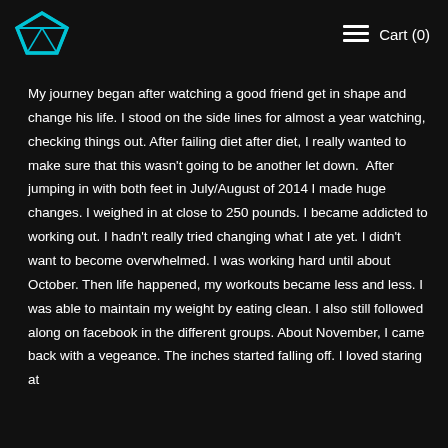Diamond logo | ≡ Cart (0)
My journey began after watching a good friend get in shape and change his life. I stood on the side lines for almost a year watching, checking things out. After failing diet after diet, I really wanted to make sure that this wasn't going to be another let down.  After jumping in with both feet in July/August of 2014 I made huge changes. I weighed in at close to 250 pounds. I became addicted to working out. I hadn't really tried changing what I ate yet. I didn't want to become overwhelmed. I was working hard until about October. Then life happened, my workouts became less and less. I was able to maintain my weight by eating clean. I also still followed along on facebook in the different groups. About November, I came back with a vegeance. The inches started falling off. I loved staring at